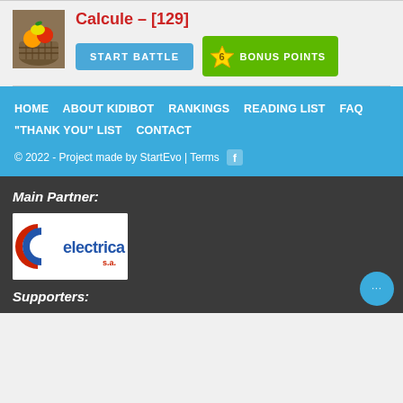Calcule – [129]
START BATTLE
6 BONUS POINTS
HOME  ABOUT KIDIBOT  RANKINGS  READING LIST  FAQ  "THANK YOU" LIST  CONTACT
© 2022 - Project made by StartEvo | Terms
Main Partner:
[Figure (logo): Electrica S.A. logo — blue stylized C letter icon with red inner curve, blue sans-serif text 'electrica' and smaller red text 's.a.']
Supporters: